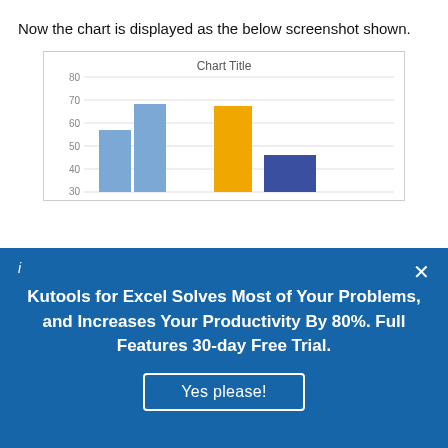Now the chart is displayed as the below screenshot shown.
[Figure (bar-chart): Partial bar chart showing multiple series with bars in light blue, yellow/gold, and dark blue. Y-axis shows values from 30 to 80. First group has two light blue bars around 57 and 63/70. Second group has a yellow bar around 38 and a dark blue bar around 46.]
Kutools for Excel Solves Most of Your Problems, and Increases Your Productivity By 80%. Full Features 30-day Free Trial.
Yes please!